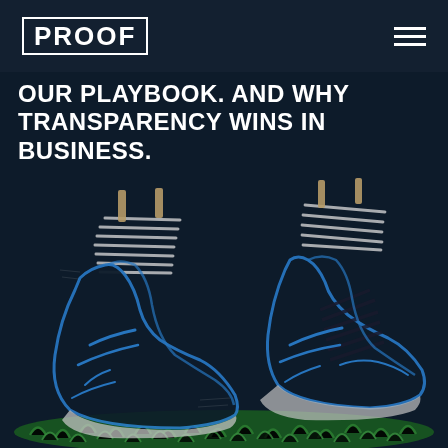PROOF
OUR PLAYBOOK. AND WHY TRANSPARENCY WINS IN BUSINESS.
[Figure (illustration): Hand-drawn illustration of two soccer/football cleats (shoes) with blue and dark outlines, white laces area, resting on green grass, drawn in a sketch style on a dark navy background.]